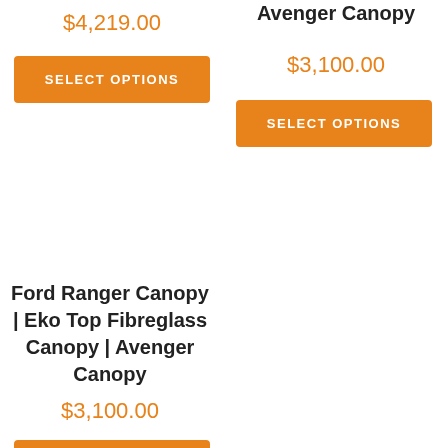$4,219.00
SELECT OPTIONS
Avenger Canopy
$3,100.00
SELECT OPTIONS
Ford Ranger Canopy | Eko Top Fibreglass Canopy | Avenger Canopy
$3,100.00
SELECT OPTIONS